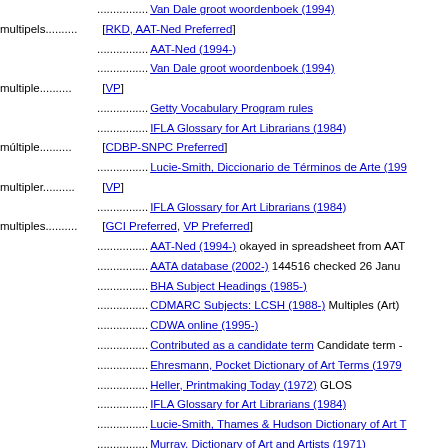................ Van Dale groot woordenboek (1994)
multipels.............. [RKD, AAT-Ned Preferred]
................ AAT-Ned (1994-)
................ Van Dale groot woordenboek (1994)
multiple.............. [VP]
................ Getty Vocabulary Program rules
................ IFLA Glossary for Art Librarians (1984)
múltiple.............. [CDBP-SNPC Preferred]
................ Lucie-Smith, Diccionario de Términos de Arte (199...)
multipler.............. [VP]
................ IFLA Glossary for Art Librarians (1984)
multiples.............. [GCI Preferred, VP Preferred]
................ AAT-Ned (1994-) okayed in spreadsheet from AAT...
................ AATA database (2002-) 144516 checked 26 Janu...
................ BHA Subject Headings (1985-)
................ CDMARC Subjects: LCSH (1988-) Multiples (Art)
................ CDWA online (1995-)
................ Contributed as a candidate term Candidate term -
................ Ehresmann, Pocket Dictionary of Art Terms (1979...)
................ Heller, Printmaking Today (1972) GLOS
................ IFLA Glossary for Art Librarians (1984)
................ Lucie-Smith, Thames & Hudson Dictionary of Art T...
................ Murray, Dictionary of Art and Artists (1971)
................ Oxford Companion to 20th-Century Art (1981)
................ Oxford English Dictionary (1989)
................ Random House Unabridged Dictionary (1993)
................ Walker, Glossary of Art (1992) 425